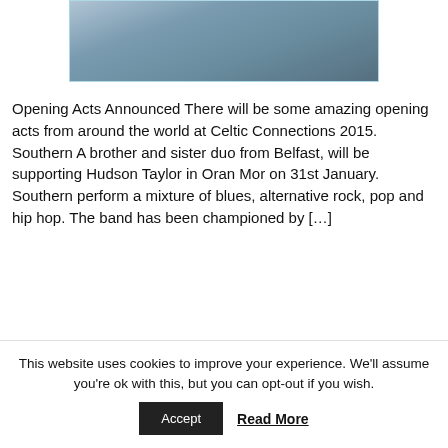[Figure (photo): Partial photo of people, appears to be a band or group, cropped at top, showing hands and partial torsos on what appears to be a railing or fence outdoors.]
Opening Acts Announced There will be some amazing opening acts from around the world at Celtic Connections 2015. Southern A brother and sister duo from Belfast, will be supporting Hudson Taylor in Oran Mor on 31st January. Southern perform a mixture of blues, alternative rock, pop and hip hop. The band has been championed by […]
Read the full article: Celtic Connections 2015, Acts
This website uses cookies to improve your experience. We'll assume you're ok with this, but you can opt-out if you wish.
Accept
Read More